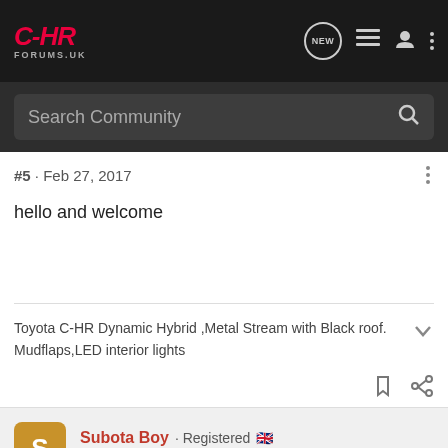C-HR FORUMS.UK
Search Community
#5 · Feb 27, 2017
hello and welcome
Toyota C-HR Dynamic Hybrid ,Metal Stream with Black roof. Mudflaps,LED interior lights
Subota Boy · Registered
Joined Dec 16, 2016 · 396 Posts